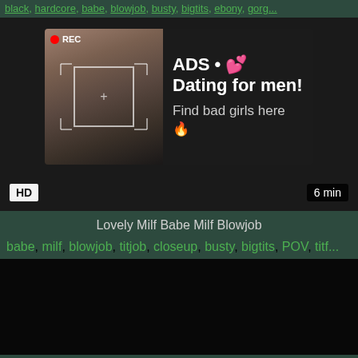black, hardcore, babe, blowjob, busty, bigtits, ebony, gorg...
[Figure (screenshot): Video thumbnail with REC badge and ad overlay showing dating advertisement. HD badge bottom left, 6 min duration badge bottom right.]
Lovely Milf Babe Milf Blowjob
babe, milf, blowjob, titjob, closeup, busty, bigtits, POV, titf...
[Figure (screenshot): Dark/black video thumbnail area at bottom of page]